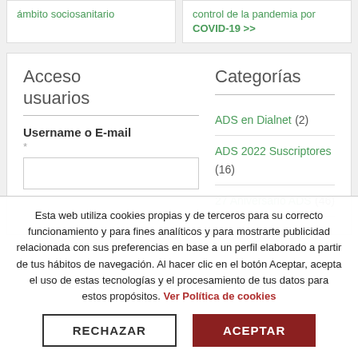ámbito sociosanitario
control de la pandemia por COVID-19 >>
Acceso usuarios
Username o E-mail
Categorías
ADS en Dialnet (2)
ADS 2022 Suscriptores (16)
27 Aniversario ADS (46)
Esta web utiliza cookies propias y de terceros para su correcto funcionamiento y para fines analíticos y para mostrarte publicidad relacionada con sus preferencias en base a un perfil elaborado a partir de tus hábitos de navegación. Al hacer clic en el botón Aceptar, acepta el uso de estas tecnologías y el procesamiento de tus datos para estos propósitos. Ver Política de cookies
RECHAZAR
ACEPTAR